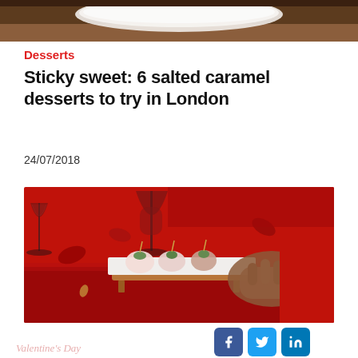[Figure (photo): Top portion of a food photo showing a white plate on a brown wooden surface, cropped at top of page]
Desserts
Sticky sweet: 6 salted caramel desserts to try in London
24/07/2018
[Figure (photo): A person in a red outfit arranging chocolate-dipped strawberries on skewers on a white rectangular board on a wooden stand; red rose petals, wine glasses with red wine visible in background on a red tablecloth]
Valentine's Day
[Figure (infographic): Social media share icons: Facebook (blue), Twitter (blue), LinkedIn (blue)]